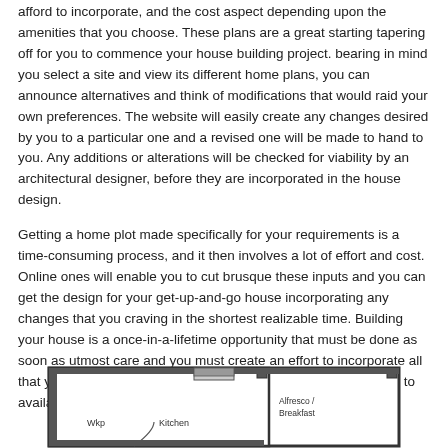afford to incorporate, and the cost aspect depending upon the amenities that you choose. These plans are a great starting tapering off for you to commence your house building project. bearing in mind you select a site and view its different home plans, you can announce alternatives and think of modifications that would raid your own preferences. The website will easily create any changes desired by you to a particular one and a revised one will be made to hand to you. Any additions or alterations will be checked for viability by an architectural designer, before they are incorporated in the house design.
Getting a home plot made specifically for your requirements is a time-consuming process, and it then involves a lot of effort and cost. Online ones will enable you to cut brusque these inputs and you can get the design for your get-up-and-go house incorporating any changes that you craving in the shortest realizable time. Building your house is a once-in-a-lifetime opportunity that must be done as soon as utmost care and you must create an effort to incorporate all that you would subsequent to to have in your desire home, topic to availability of funds.
[Figure (illustration): Partial floor plan diagram showing rooms labeled 'Wkp', 'Kitchen', 'Alfresco / Breakfast' with walls and doorways visible at bottom of page]